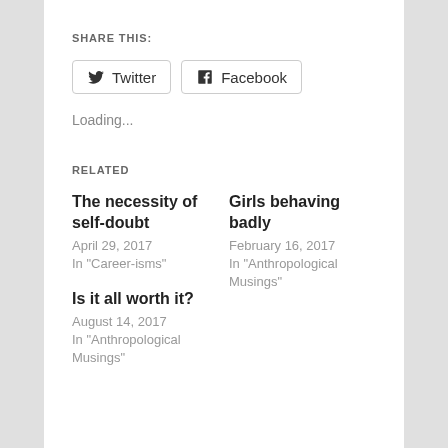SHARE THIS:
Twitter   Facebook
Loading...
RELATED
The necessity of self-doubt
April 29, 2017
In "Career-isms"
Girls behaving badly
February 16, 2017
In "Anthropological Musings"
Is it all worth it?
August 14, 2017
In "Anthropological Musings"